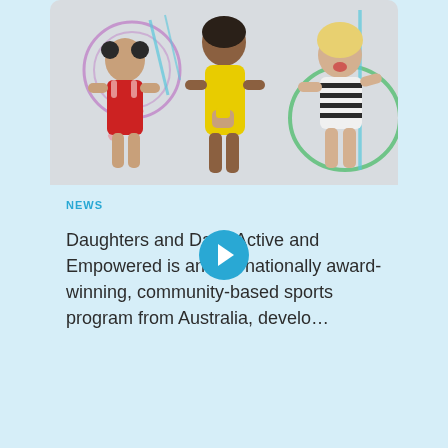[Figure (photo): Three children playing with hula hoops and sports equipment against a light gray background with colorful geometric decorations. A girl in red on the left, a girl in yellow in the center holding items, and a girl in black and white stripes on the right.]
NEWS
Daughters and Dads Active and Empowered is an internationally award-winning, community-based sports program from Australia, develo…